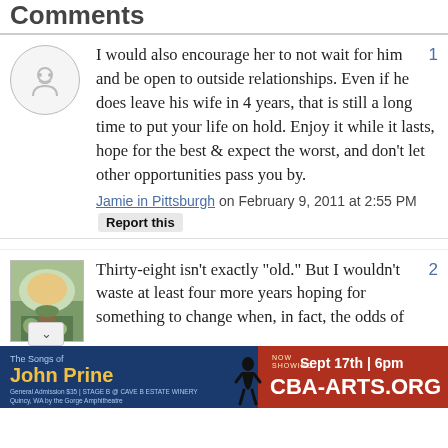Comments
I would also encourage her to not wait for him and be open to outside relationships. Even if he does leave his wife in 4 years, that is still a long time to put your life on hold. Enjoy it while it lasts, hope for the best & expect the worst, and don't let other opportunities pass you by.
Jamie in Pittsburgh on February 9, 2011 at 2:55 PM  Report this
Thirty-eight isn't exactly "old." But I wouldn't waste at least four more years hoping for something to change when, in fact, the odds of
[Figure (infographic): Advertisement banner: The Songs of John Prine, Now Showing Sept 17th 6pm, General Admission $35, Stage B @ Cave B Estate Winery, Quincy WA by the Gorge Amphitheatre, CBA-ARTS.ORG]